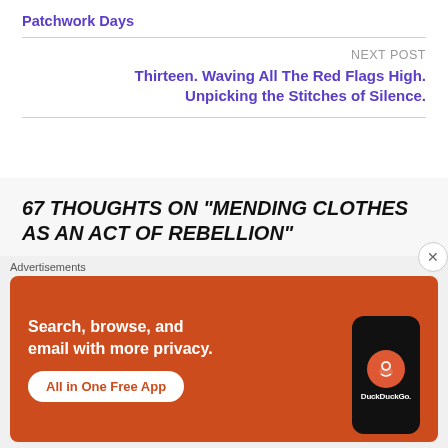Patchwork Days
NEXT POST
Thirteen. Waving All The Red Flags High. Unpicking the Stitches of Silence.
67 THOUGHTS ON “MENDING CLOTHES AS AN ACT OF REBELLION”
newcastlekatie
Advertisements
[Figure (screenshot): DuckDuckGo advertisement banner with text: Search, browse, and email with more privacy. All in One Free App. Shows a phone with DuckDuckGo logo.]